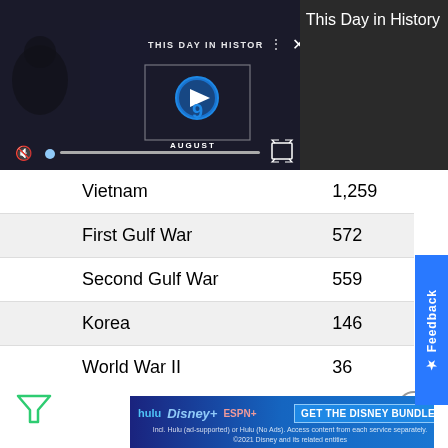[Figure (screenshot): Video player showing 'This Day in History' with play button, August label, muted audio, progress bar, and expand icon on dark background]
This Day in History
|  |  |
| --- | --- |
| Vietnam | 1,259 |
| First Gulf War | 572 |
| Second Gulf War | 559 |
| Korea | 146 |
| World War II | 36 |
[Figure (logo): Filter/funnel icon (green triangle outline)]
[Figure (logo): Close/X circle icon]
[Figure (screenshot): Disney Bundle advertisement with Hulu, Disney+, ESPN+ logos and 'GET THE DISNEY BUNDLE' button]